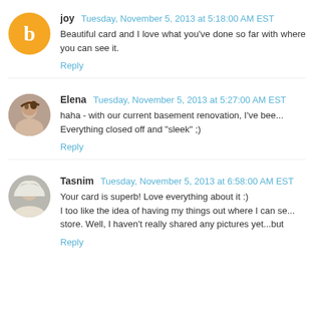joy  Tuesday, November 5, 2013 at 5:18:00 AM EST
Beautiful card and I love what you've done so far with where you can see it.
Reply
Elena  Tuesday, November 5, 2013 at 5:27:00 AM EST
haha - with our current basement renovation, I've bee... Everything closed off and "sleek" ;)
Reply
Tasnim  Tuesday, November 5, 2013 at 6:58:00 AM EST
Your card is superb! Love everything about it :)
I too like the idea of having my things out where I can se... store. Well, I haven't really shared any pictures yet...but
Reply